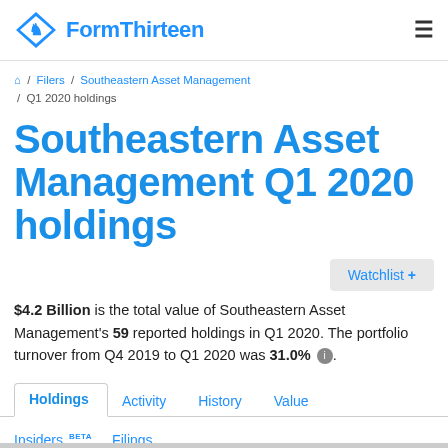FormThirteen
/ Filers / Southeastern Asset Management / Q1 2020 holdings
Southeastern Asset Management Q1 2020 holdings
Watchlist +
$4.2 Billion is the total value of Southeastern Asset Management's 59 reported holdings in Q1 2020. The portfolio turnover from Q4 2019 to Q1 2020 was 31.0%.
Holdings | Activity | History | Value | Insiders BETA | Filings